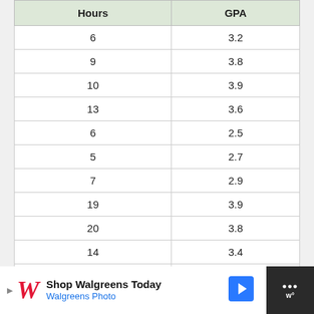| Hours | GPA |
| --- | --- |
| 6 | 3.2 |
| 9 | 3.8 |
| 10 | 3.9 |
| 13 | 3.6 |
| 6 | 2.5 |
| 5 | 2.7 |
| 7 | 2.9 |
| 19 | 3.9 |
| 20 | 3.8 |
| 14 | 3.4 |
| 10 | 3.1 |
| 7 | 2.6 |
| 4 | 2.2 |
| 8 | 2.9 |
[Figure (other): Walgreens advertisement banner: Shop Walgreens Today - Walgreens Photo]